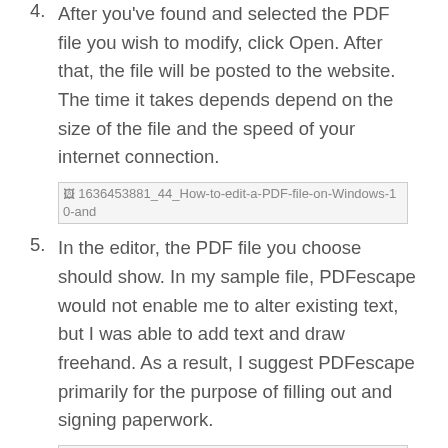4. After you've found and selected the PDF file you wish to modify, click Open. After that, the file will be posted to the website. The time it takes depends depend on the size of the file and the speed of your internet connection.
[Figure (screenshot): Broken image placeholder: 1636453881_44_How-to-edit-a-PDF-file-on-Windows-10-and]
5. In the editor, the PDF file you choose should show. In my sample file, PDFescape would not enable me to alter existing text, but I was able to add text and draw freehand. As a result, I suggest PDFescape primarily for the purpose of filling out and signing paperwork.
[Figure (screenshot): Broken image placeholder: 1636453882_719_How-to-edit-a-PDF-file-on-Windows-10-and]
Desktop applications are the best option for editing while offline: